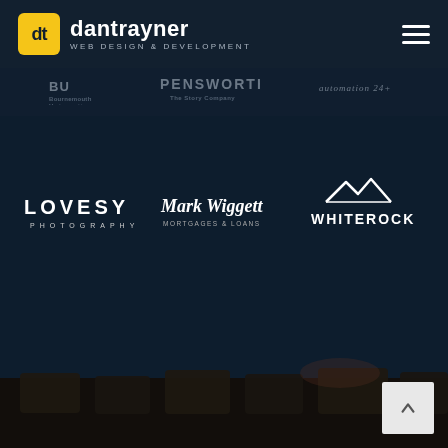[Figure (logo): dantrayner web design & development logo with yellow square icon and white text]
[Figure (logo): BU Bournemouth University client logo (faded)]
[Figure (logo): PENSWORTH The Story Company client logo (faded)]
[Figure (logo): Automation 24 client logo (faded)]
[Figure (logo): LOVESY PHOTOGRAPHY white logo]
[Figure (logo): Mark Wiggett Mortgages white logo]
[Figure (logo): WHITEROCK with mountain peak icon white logo]
[Figure (photo): Dark bottom section showing empty chairs/seating in a dim venue]
[Figure (screenshot): Back to top arrow button in light grey square at bottom right]